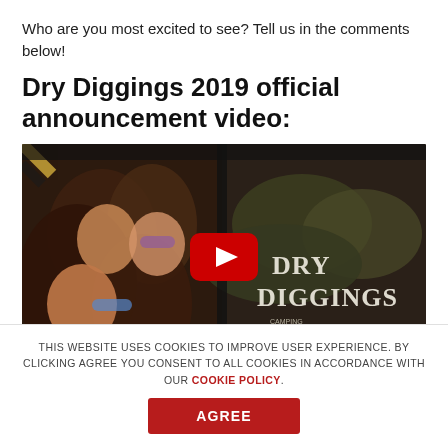Who are you most excited to see? Tell us in the comments below!
Dry Diggings 2019 official announcement video:
[Figure (screenshot): YouTube video thumbnail for Dry Diggings 2019 official announcement video, showing a group of young women smiling and celebrating on the left, and the Dry Diggings Camping & Music Festival logo on the right, with a red YouTube play button in the center.]
THIS WEBSITE USES COOKIES TO IMPROVE USER EXPERIENCE. BY CLICKING AGREE YOU CONSENT TO ALL COOKIES IN ACCORDANCE WITH OUR COOKIE POLICY.
AGREE